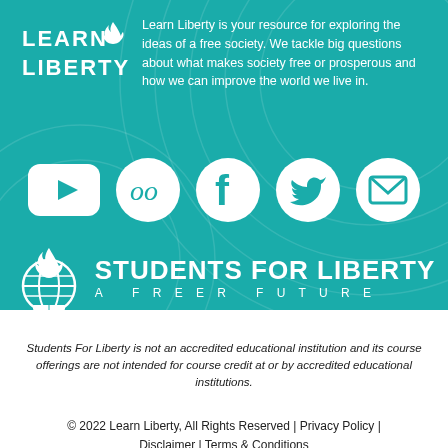[Figure (logo): Learn Liberty logo — white text with flame icon on teal background]
Learn Liberty is your resource for exploring the ideas of a free society. We tackle big questions about what makes society free or prosperous and how we can improve the world we live in.
[Figure (infographic): Five social media icons in white: YouTube (rounded rectangle with play button), Curious Minds/Coursera (circle with double loop), Facebook (circle with f), Twitter (circle with bird), Email (circle with envelope)]
[Figure (logo): Students For Liberty logo — globe with flame and book, white, with text STUDENTS FOR LIBERTY / A FREER FUTURE]
Students For Liberty is not an accredited educational institution and its course offerings are not intended for course credit at or by accredited educational institutions.
© 2022 Learn Liberty, All Rights Reserved | Privacy Policy | Disclaimer | Terms & Conditions